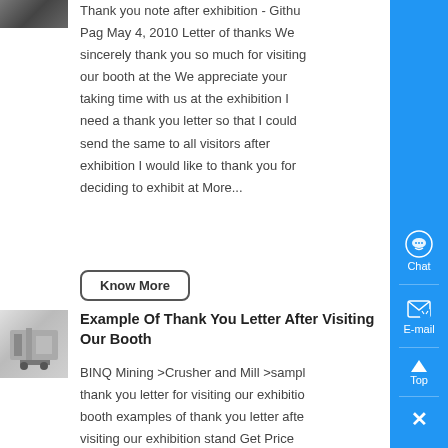[Figure (photo): Small thumbnail image at top left, showing industrial equipment]
Thank you note after exhibition - Githu Pag May 4, 2010 Letter of thanks We sincerely thank you so much for visiting our booth at the We appreciate your taking time with us at the exhibition I need a thank you letter so that I could send the same to all visitors after exhibition I would like to thank you for deciding to exhibit at More...
Know More
[Figure (photo): Thumbnail image of industrial machine/equipment in a factory setting]
Example Of Thank You Letter After Visiting Our Booth
BINQ Mining >Crusher and Mill >sample thank you letter for visiting our exhibition booth examples of thank you letter after visiting our exhibition stand Get Price And Support Online Thank S...